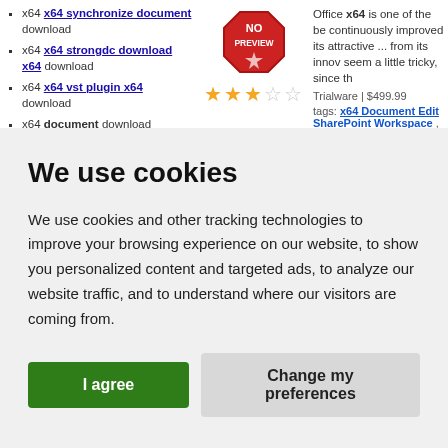x64 x64 synchronize document download
x64 x64 strongdc download x64 download
x64 x64 vst plugin x64 download
x64 document download
[Figure (illustration): No Preview badge (red octagon) with 2.5 star rating]
Office x64 is one of the be continuously improved its attractive ... from its innov seem a little tricky, since th
Trialware | $499.99
tags: x64 Document Edit SharePoint Workspace ,
We use cookies
We use cookies and other tracking technologies to improve your browsing experience on our website, to show you personalized content and targeted ads, to analyze our website traffic, and to understand where our visitors are coming from.
I agree
Change my preferences